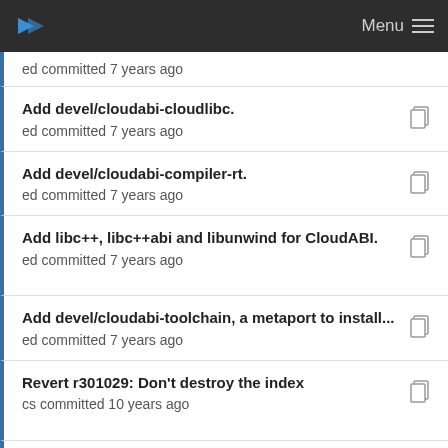Menu
ed committed 7 years ago
Add devel/cloudabi-cloudlibc.
ed committed 7 years ago
Add devel/cloudabi-compiler-rt.
ed committed 7 years ago
Add libc++, libc++abi and libunwind for CloudABI.
ed committed 7 years ago
Add devel/cloudabi-toolchain, a metaport to install...
ed committed 7 years ago
Revert r301029: Don't destroy the index
cs committed 10 years ago
Add new port devel/cmake-modules-webos:
makc committed 7 years ago